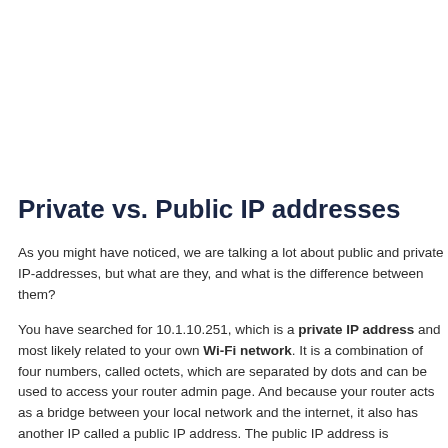Private vs. Public IP addresses
As you might have noticed, we are talking a lot about public and private IP-addresses, but what are they, and what is the difference between them?
You have searched for 10.1.10.251, which is a private IP address and most likely related to your own Wi-Fi network. It is a combination of four numbers, called octets, which are separated by dots and can be used to access your router admin page. And because your router acts as a bridge between your local network and the internet, it also has another IP called a public IP address. The public IP address is